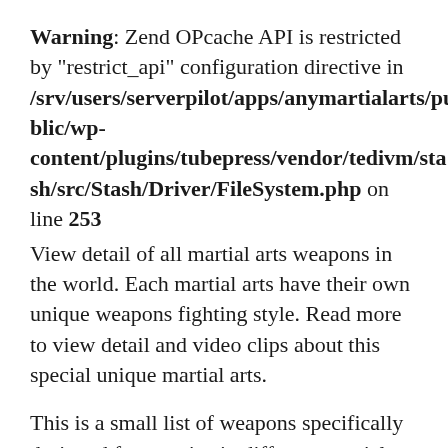Warning: Zend OPcache API is restricted by "restrict_api" configuration directive in /srv/users/serverpilot/apps/anymartialarts/public/wp-content/plugins/tubepress/vendor/tedivm/stash/src/Stash/Driver/FileSystem.php on line 253
View detail of all martial arts weapons in the world. Each martial arts have their own unique weapons fighting style. Read more to view detail and video clips about this special unique martial arts.
This is a small list of weapons specifically designed for practice in different martial arts from around the world. As such, it differs from